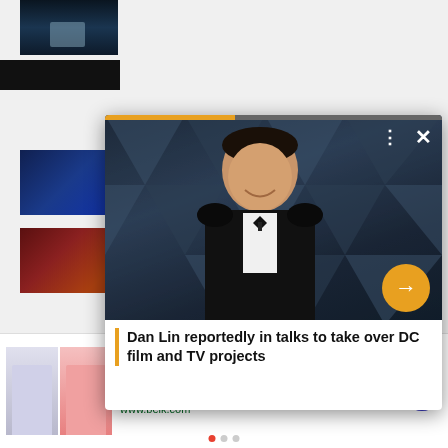[Figure (photo): Thumbnail image - dark cinematic scene]
[Figure (photo): Thumbnail image - Batman and Robin animated]
[Figure (photo): Thumbnail image - religious art with gold details]
[Figure (photo): Popup card showing man in tuxedo with bow tie at formal event, dark blue triangle pattern background. Navigation controls with dots menu and X close button. Orange circular arrow button.]
Dan Lin reportedly in talks to take over DC film and TV projects
[Figure (advertisement): Belk.com advertisement showing two women in skirts]
Belk.com - Belk® - Official Site
Up To 75% Mens & Womens Shorts, Alts, Skirts & Swim
www.belk.com